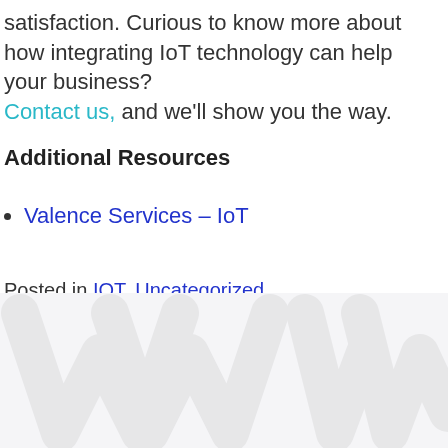satisfaction. Curious to know more about how integrating IoT technology can help your business? Contact us, and we'll show you the way.
Additional Resources
Valence Services – IoT
Posted in IOT, Uncategorized
[Figure (illustration): Watermark or logo graphic in light gray at the bottom of the page]